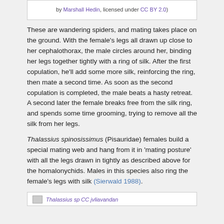by Marshall Hedin, licensed under CC BY 2.0)
These are wandering spiders, and mating takes place on the ground. With the female’s legs all drawn up close to her cephalothorax, the male circles around her, binding her legs together tightly with a ring of silk. After the first copulation, he’ll add some more silk, reinforcing the ring, then mate a second time. As soon as the second copulation is completed, the male beats a hasty retreat. A second later the female breaks free from the silk ring, and spends some time grooming, trying to remove all the silk from her legs.
Thalassius spinosissimus (Pisauridae) females build a special mating web and hang from it in ‘mating posture’ with all the legs drawn in tightly as described above for the homalonychids. Males in this species also ring the female’s legs with silk (Sierwald 1988).
Thalassius sp CC jvliavandan